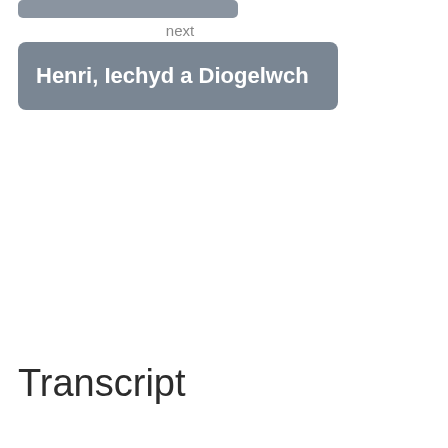next
Henri, Iechyd a Diogelwch
Transcript